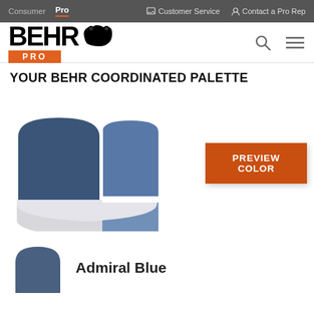Consumer  Pro    Customer Service    Contact a Pro Rep
[Figure (logo): BEHR PRO logo with bear silhouette and orange PRO badge]
YOUR BEHR COORDINATED PALETTE
[Figure (illustration): House/palette graphic showing coordinated paint colors: dark navy-blue left panel, medium steel-blue upper right panel, medium-dark blue-gray lower right panel, and light gray bottom curved section]
PREVIEW COLOR
[Figure (illustration): Small Admiral Blue paint chip swatch with rounded arch top]
Admiral Blue